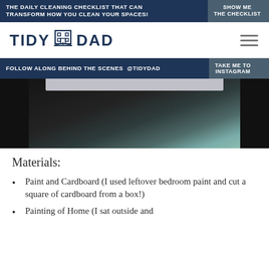THE DAILY CLEANING CHECKLIST THAT CAN TRANSFORM HOW YOU CLEAN YOUR SPACES! | SHOW ME THE CHECKLIST
[Figure (logo): Tidy Dad logo with building and bridge icon, dark navy text]
FOLLOW ALONG BEHIND THE SCENES @TIDYDAD | TAKE ME TO INSTAGRAM
[Figure (photo): Dark photograph showing a monitor or TV with a light bar at the top, dark background with subtle gradient]
Materials:
Paint and Cardboard (I used leftover bedroom paint and cut a square of cardboard from a box!)
Painting of Home (I sat outside and